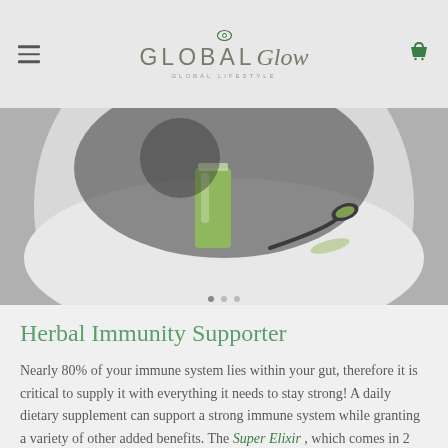GLOBAL Glow — GLOBAL LIFESTYLE
[Figure (photo): A green smoothie shot in a small glass next to a spoon with green powder on a white surface, shown in circular crop on grey background.]
Herbal Immunity Supporter
Nearly 80% of your immune system lies within your gut, therefore it is critical to supply it with everything it needs to stay strong! A daily dietary supplement can support a strong immune system while granting a variety of other added benefits. The Super Elixir , which comes in 2 flavours: Lemon & Ginger, Pineapple & Lime, is